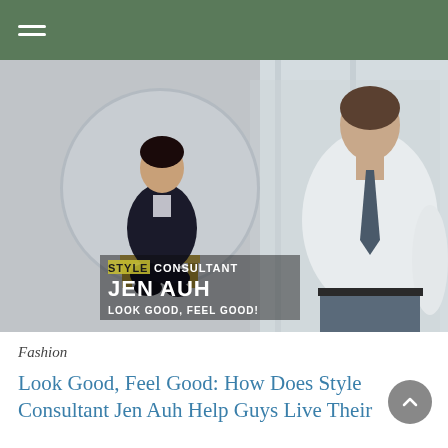[Figure (photo): Hero image showing a female style consultant in a circular inset on the left wearing a dark blazer seated on a chair, and a well-dressed man in a white dress shirt and tie looking out a window on the right. Text overlay reads: STYLE CONSULTANT JEN AUH LOOK GOOD, FEEL GOOD!]
Fashion
Look Good, Feel Good: How Does Style Consultant Jen Auh Help Guys Live Their